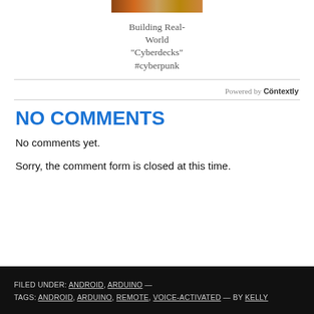[Figure (photo): Small thumbnail image, partially visible at top of page]
Building Real-World "Cyberdecks" #cyberpunk
Powered by Contextly
NO COMMENTS
No comments yet.
Sorry, the comment form is closed at this time.
FILED UNDER: ANDROID, ARDUINO — TAGS: ANDROID, ARDUINO, REMOTE, VOICE-ACTIVATED — BY KELLY